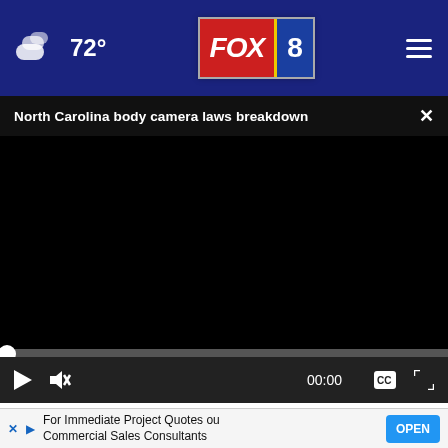☁ 72° | FOX 8
North Carolina body camera laws breakdown  ×
[Figure (screenshot): Black video player area (video not loaded/playing)]
▶  🔇  00:00  ⬛  ⛶
Doctors Stunned: This Removes Wrinkles Like Crazy (Try Tonight)
Rejuva…
For Immediate Project Quotes ou Commercial Sales Consultants  OPEN